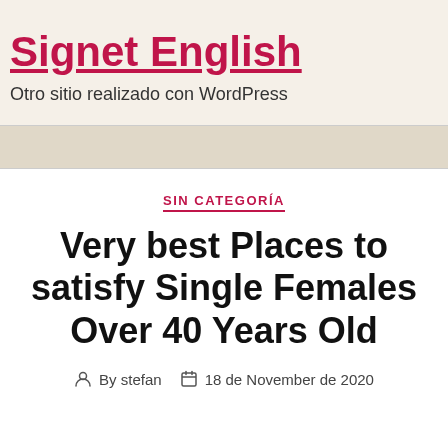Signet English
Otro sitio realizado con WordPress
SIN CATEGORÍA
Very best Places to satisfy Single Females Over 40 Years Old
By stefan   18 de November de 2020